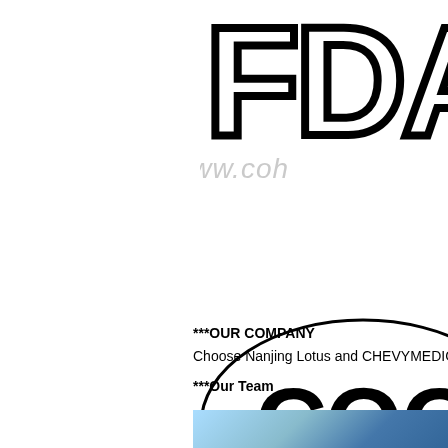[Figure (logo): FDA logo text in bold block letters, partially cropped on the right, with a watermark URL 'www.coh...' overlaid in gray italic text]
[Figure (logo): CQC certification logo: oval border with 'CQC' bold text inside, hand-stamped style. Partially visible blue certification logo to the right.]
***OUR COMPANY
Choose Nanjing Lotus and CHEVYMEDICAL i
***Our Team
[Figure (photo): Partially visible photo at bottom of page, cropped, showing what appears to be a team or product photo with blue elements.]